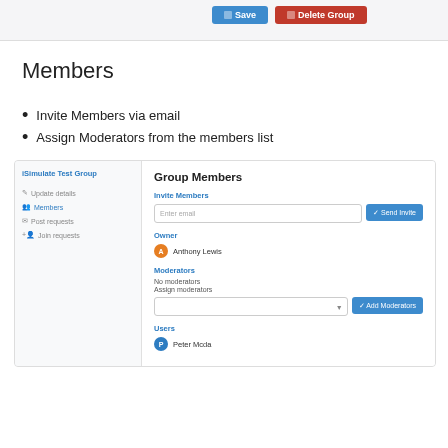[Figure (screenshot): Top bar with Save and Delete Group buttons]
Members
Invite Members via email
Assign Moderators from the members list
[Figure (screenshot): Screenshot of group management interface showing sidebar with iSimulate Test Group, Update details, Members, Post requests, Join requests, and main panel with Group Members section showing Invite Members email input, Send Invite button, Owner: Anthony Lewis, Moderators: No moderators, Assign moderators dropdown with Add Moderators button, Users: Peter Mcda]